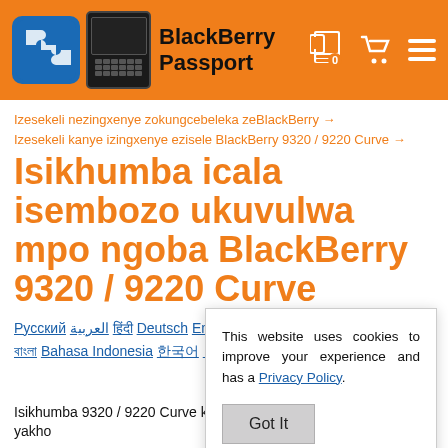BlackBerry Passport
Izesekeli nezingxenye zokungcebeleka zeBlackBerry → Izesekeli kanye izingxenye ezisele BlackBerry 9320 / 9220 Curve →
Isikhumba icala isembozo ukuvulwa mpo ngoba BlackBerry 9320 / 9220 Curve
Русский العربية हिंदी Deutsch English Español Français বাংলা Bahasa Indonesia 한국어 日本語
This website uses cookies to improve your experience and has a Privacy Policy. Got It
Isikhumba 9320 / 9220 Curve kakhula thembe ukuvikela front yakho